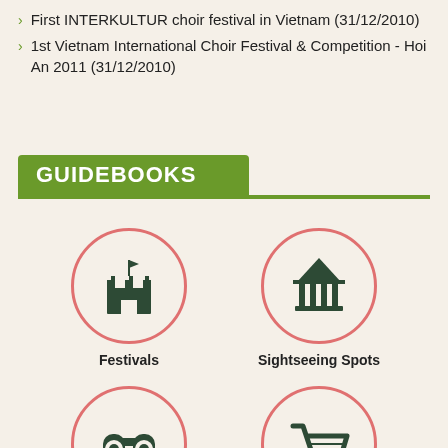First INTERKULTUR choir festival in Vietnam (31/12/2010)
1st Vietnam International Choir Festival & Competition - Hoi An 2011 (31/12/2010)
GUIDEBOOKS
[Figure (infographic): Four circular icons for guidebook categories: Festivals (castle icon), Sightseeing Spots (museum/bank building icon), Travel Experience (binoculars icon), Shopping (shopping cart icon), and two partially visible circles at the bottom.]
Festivals
Sightseeing Spots
Travel Experience
Shopping